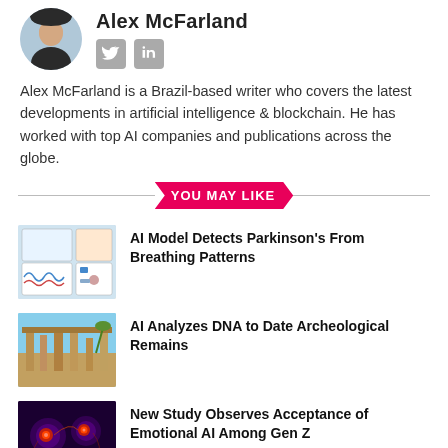Alex McFarland
Alex McFarland is a Brazil-based writer who covers the latest developments in artificial intelligence & blockchain. He has worked with top AI companies and publications across the globe.
YOU MAY LIKE
[Figure (photo): Thumbnail showing AI model diagram for Parkinson's detection from breathing patterns]
AI Model Detects Parkinson's From Breathing Patterns
[Figure (photo): Thumbnail showing ancient ruins / archaeological site with blue sky]
AI Analyzes DNA to Date Archeological Remains
[Figure (photo): Thumbnail showing brain/neuron imagery with red glowing cells on dark background]
New Study Observes Acceptance of Emotional AI Among Gen Z